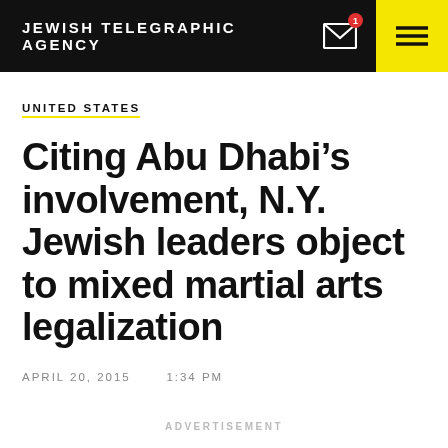JEWISH TELEGRAPHIC AGENCY
UNITED STATES
Citing Abu Dhabi’s involvement, N.Y. Jewish leaders object to mixed martial arts legalization
APRIL 20, 2015    1:34 PM
ADVERTISEMENT